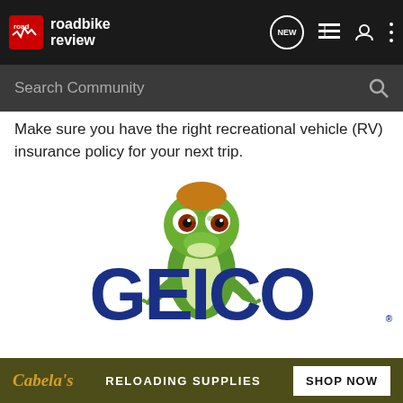roadbike review — NEW | menu | user | more
Search Community
Make sure you have the right recreational vehicle (RV) insurance policy for your next trip.
[Figure (photo): GEICO advertisement featuring the GEICO gecko mascot (green lizard) standing above large bold blue GEICO text logo with registered trademark symbol]
[Figure (photo): Cabela's banner advertisement with text 'RELOADING SUPPLIES' and a 'SHOP NOW' button on an olive/dark background]